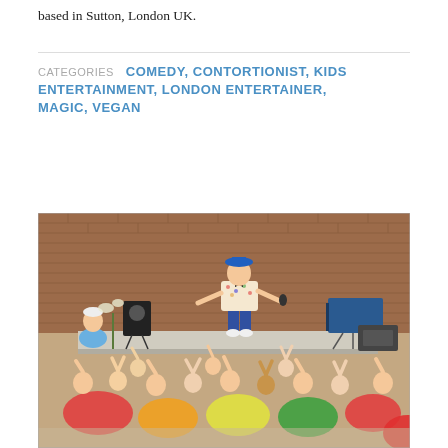based in Sutton, London UK.
CATEGORIES COMEDY, CONTORTIONIST, KIDS ENTERTAINMENT, LONDON ENTERTAINER, MAGIC, VEGAN
[Figure (photo): A performer in a blue hat and patterned shirt stands on a stage entertaining a crowd of children sitting on colorful bean bags, raising their hands. A brick wall background and stage equipment visible. An adult sits to the left watching.]